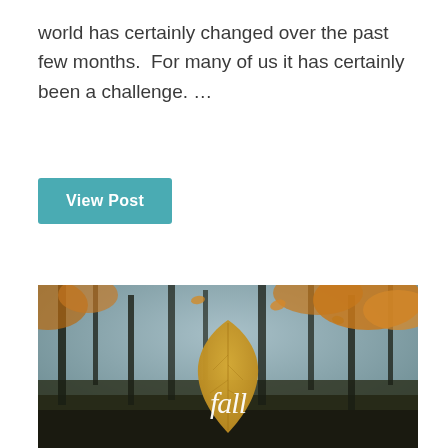world has certainly changed over the past few months.  For many of us it has certainly been a challenge. …
View Post
[Figure (photo): Autumn/fall themed photo with blurred trees and golden/orange leaves in the background, with a large golden leaf in the foreground containing the word 'fall' written in white script lettering.]